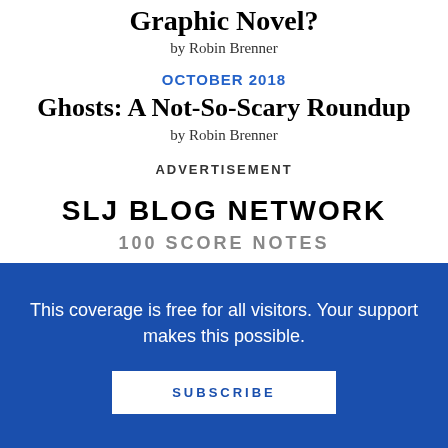Graphic Novel?
by Robin Brenner
OCTOBER 2018
Ghosts: A Not-So-Scary Roundup
by Robin Brenner
ADVERTISEMENT
SLJ BLOG NETWORK
100 SCORE NOTES
This coverage is free for all visitors. Your support makes this possible.
SUBSCRIBE